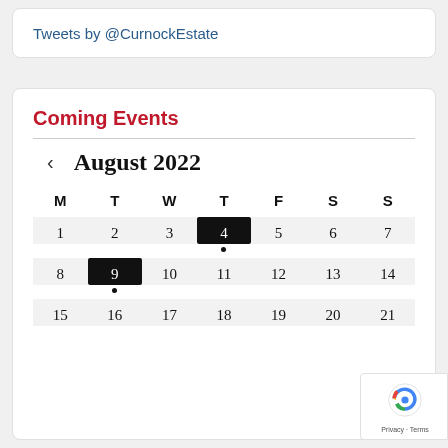Tweets by @CurnockEstate
Coming Events
[Figure (other): August 2022 calendar widget with navigation arrow. Days shown: row 1 (1-7) with 4 highlighted black and a dot below; row 2 (8-14) with 9 highlighted black and a dot below; row 3 (15-21).]